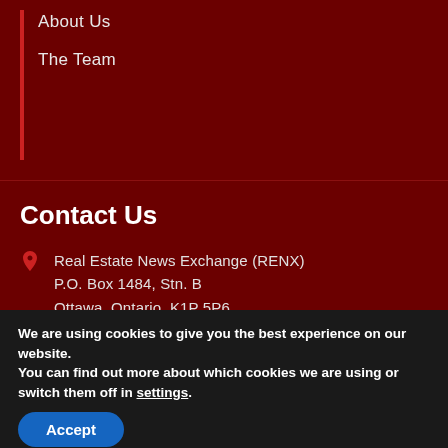About Us
The Team
Contact Us
Real Estate News Exchange (RENX)
P.O. Box 1484, Stn. B
Ottawa, Ontario, K1P 5P6
thankyou@renx.ca
Canada: 1-855-569-6300
We are using cookies to give you the best experience on our website.
You can find out more about which cookies we are using or switch them off in settings.
Accept